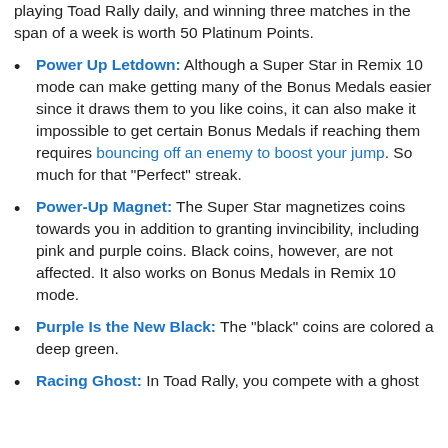playing Toad Rally daily, and winning three matches in the span of a week is worth 50 Platinum Points.
Power Up Letdown: Although a Super Star in Remix 10 mode can make getting many of the Bonus Medals easier since it draws them to you like coins, it can also make it impossible to get certain Bonus Medals if reaching them requires bouncing off an enemy to boost your jump. So much for that "Perfect" streak.
Power-Up Magnet: The Super Star magnetizes coins towards you in addition to granting invincibility, including pink and purple coins. Black coins, however, are not affected. It also works on Bonus Medals in Remix 10 mode.
Purple Is the New Black: The "black" coins are colored a deep green.
Racing Ghost: In Toad Rally, you compete with a ghost
[Figure (other): Advertisement banner for Lidl In-store shopping with play/close buttons and navigation arrow icon]